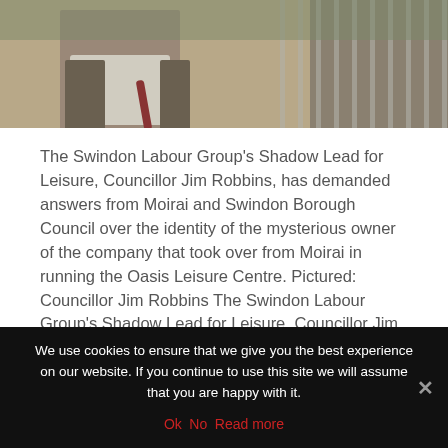[Figure (photo): Photograph of a man (Councillor Jim Robbins) outdoors near a metal fence, partially cropped at the top of the page.]
The Swindon Labour Group’s Shadow Lead for Leisure, Councillor Jim Robbins, has demanded answers from Moirai and Swindon Borough Council over the identity of the mysterious owner of the company that took over from Moirai in running the Oasis Leisure Centre. Pictured: Councillor Jim Robbins The Swindon Labour Group’s Shadow Lead for Leisure, Councillor Jim Robbins, has demanded answers from Moirai and Swindon Borough Council over the identity of the mysterious owner of the company that took over from
We use cookies to ensure that we give you the best experience on our website. If you continue to use this site we will assume that you are happy with it.
Ok   No   Read more